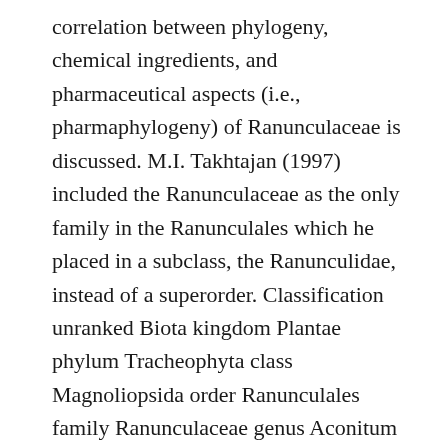correlation between phylogeny, chemical ingredients, and pharmaceutical aspects (i.e., pharmaphylogeny) of Ranunculaceae is discussed. M.I. Takhtajan (1997) included the Ranunculaceae as the only family in the Ranunculales which he placed in a subclass, the Ranunculidae, instead of a superorder. Classification unranked Biota kingdom Plantae phylum Tracheophyta class Magnoliopsida order Ranunculales family Ranunculaceae genus Aconitum L. genus Actaea L. genus Adonis L. genus Anemone L. genus Aquilegia L. genus Caltha L. genus Ranunculaceae gardens. The flowers usually have two to five free sepals and may be radially symmetrical or irregular.